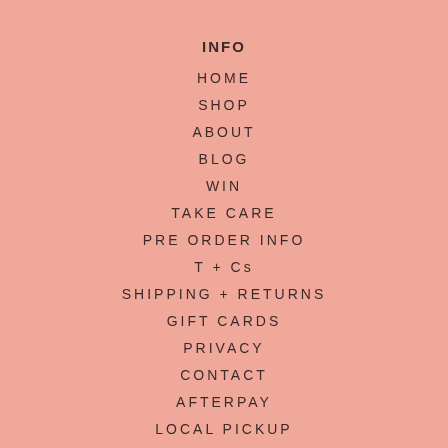INFO
HOME
SHOP
ABOUT
BLOG
WIN
TAKE CARE
PRE ORDER INFO
T + Cs
SHIPPING + RETURNS
GIFT CARDS
PRIVACY
CONTACT
AFTERPAY
LOCAL PICKUP